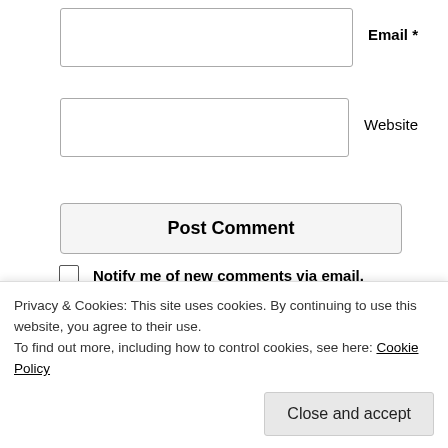Email *
Website
Post Comment
Notify me of new comments via email.
Notify me of new posts via email.
RTW Fast
Privacy & Cookies: This site uses cookies. By continuing to use this website, you agree to their use.
To find out more, including how to control cookies, see here: Cookie Policy
Close and accept